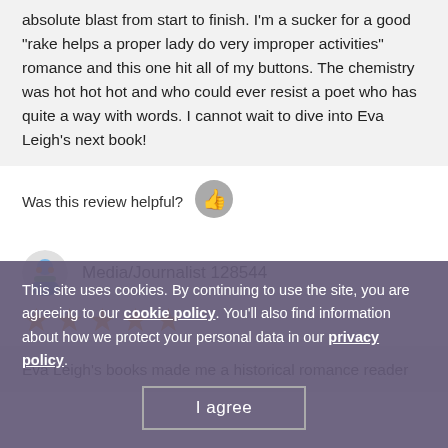absolute blast from start to finish. I'm a sucker for a good "rake helps a proper lady do very improper activities" romance and this one hit all of my buttons. The chemistry was hot hot hot and who could ever resist a poet who has quite a way with words. I cannot wait to dive into Eva Leigh's next book!
Was this review helpful?
[Figure (illustration): Thumbs up icon (circular grey button with thumbs up symbol)]
[Figure (illustration): Reviewer avatar - colorful illustrated person icon]
Media/Journalist 128544
[Figure (illustration): 5 gold/orange star rating]
Eva Leigh's books made me a historical romance reader
This site uses cookies. By continuing to use the site, you are agreeing to our cookie policy. You'll also find information about how we protect your personal data in our privacy policy.
I agree